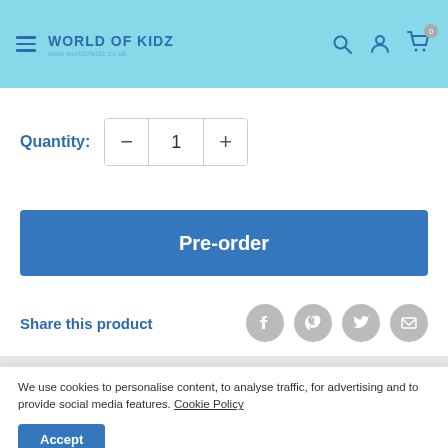World Of Kidz
Quantity: 1
Pre-order
Share this product
We use cookies to personalise content, to analyse traffic, for advertising and to provide social media features. Cookie Policy
Accept
Power Rangers Lightning Deluxe